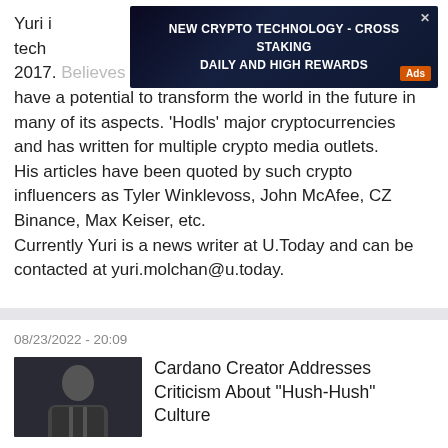Yuri [name partially obscured] and tech[nology/...] 2017. Believes that blockchain and cryptocurrencies have a potential to transform the world in the future in many of its aspects. 'Hodls' major cryptocurrencies and has written for multiple crypto media outlets. His articles have been quoted by such crypto influencers as Tyler Winklevoss, John McAfee, CZ Binance, Max Keiser, etc. Currently Yuri is a news writer at U.Today and can be contacted at yuri.molchan@u.today.
[Figure (other): Advertisement banner: NEW CRYPTO TECHNOLOGY - CROSS STAKING DAILY AND HIGH REWARDS with dark blue background and Ads label]
08/23/2022 - 20:09
[Figure (photo): Thumbnail photo of a man in a dark suit, used as article image for Cardano Creator article]
Cardano Creator Addresses Criticism About "Hush-Hush" Culture
[Figure (photo): Small circular avatar photo of Alex Dovbnya]
Alex Dovbnya